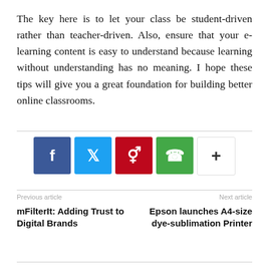The key here is to let your class be student-driven rather than teacher-driven. Also, ensure that your e-learning content is easy to understand because learning without understanding has no meaning. I hope these tips will give you a great foundation for building better online classrooms.
[Figure (infographic): Social sharing buttons: Facebook (blue), Twitter (light blue), Pinterest (red), WhatsApp (green), More (+) (white with border)]
Previous article
Next article
mFilterIt: Adding Trust to Digital Brands
Epson launches A4-size dye-sublimation Printer